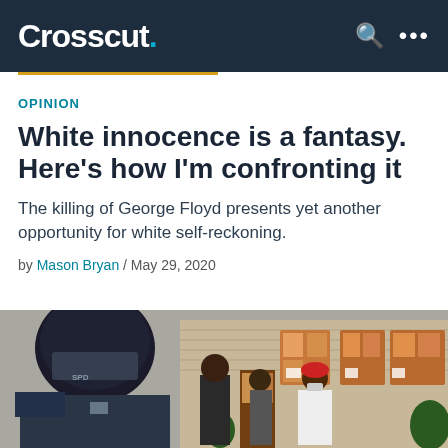Crosscut.
OPINION
White innocence is a fantasy. Here's how I'm confronting it
The killing of George Floyd presents yet another opportunity for white self-reckoning.
by Mason Bryan / May 29, 2020
[Figure (photo): A police officer in riot gear with helmet and shield in the foreground, with protesters including a man in a red cap and white t-shirt visible in front of a building with windows.]